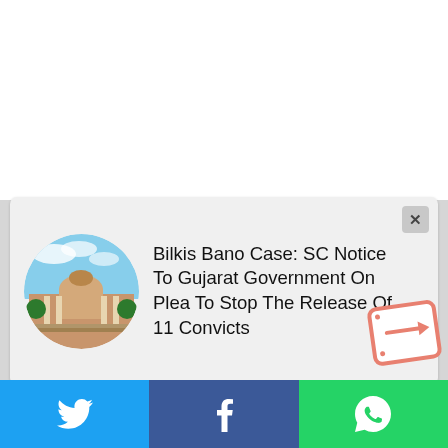[Figure (screenshot): News widget card 1: Supreme Court building circular thumbnail with headline 'Bilkis Bano Case: SC Notice To Gujarat Government On Plea To Stop The Release Of 11 Convicts' and a close (X) button]
Bilkis Bano Case: SC Notice To Gujarat Government On Plea To Stop The Release Of 11 Convicts
[Figure (screenshot): News widget card 2: Supreme Court building circular thumbnail with headline '"Providing ECIR To The Accused And Negation Of The Presumption Of Innocence' SC Is Willing...']
"Providing ECIR To The Accused And Negation Of The Presumption Of Innocence' SC Is Willing...
[Figure (infographic): Sticker icon showing a card with an arrow pointing right, with salmon/pink border]
[Figure (infographic): Bottom social sharing bar with Twitter (blue), Facebook (dark blue), WhatsApp (green) icons]